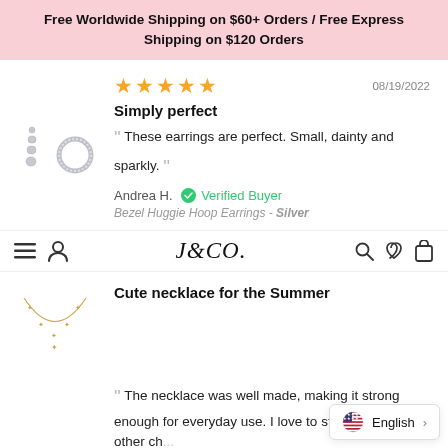Free Worldwide Shipping on $60+ Orders / Free Express Shipping on $120 Orders
[Figure (photo): Silver bezel huggie hoop earrings product thumbnail]
★★★★★  08/19/2022
Simply perfect
These earrings are perfect. Small, dainty and sparkly.
Andrea H. ✓ Verified Buyer
Bezel Huggie Hoop Earrings - Silver
[Figure (logo): J&CO. brand logo in italic serif font]
Cute necklace for the Summer
[Figure (photo): Gold star charm necklace product thumbnail]
The necklace was well made, making it strong enough for everyday use. I love to stack it with two other ch...
English >